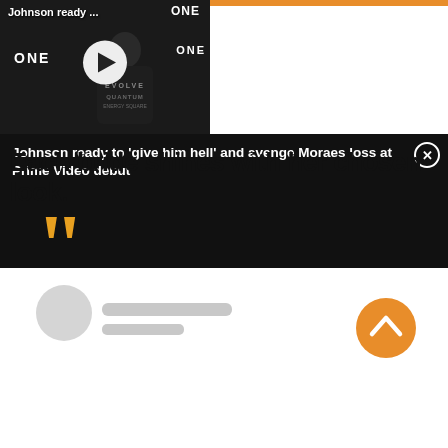[Figure (screenshot): Video thumbnail showing a fighter in dark clothing against an MMA backdrop with ONE Championship branding. A play button is overlaid. Adjacent panel shows article title text on dark background with a close (X) button.]
Johnson ready to 'give him hell' and avenge Moraes loss at Prime Video debut
Each bride shines with her chosen look.
[Figure (illustration): Yellow/gold large opening double quotation marks, serving as a pull-quote decoration.]
[Figure (illustration): Grey circle avatar placeholder with two grey rectangular lines below representing a user name and subtext placeholder.]
[Figure (illustration): Orange circle button with a white upward-pointing chevron arrow, for scrolling to top of page.]